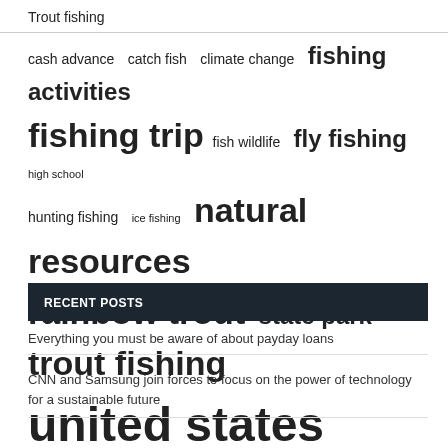Trout fishing
[Figure (infographic): Tag cloud with fishing-related terms in varying font sizes: cash advance, catch fish, climate change, fishing activities (medium), fishing trip (large), fish wildlife, fly fishing (medium-large), high school (small), hunting fishing (medium), ice fishing (small), natural resources (large), rainbow trout (large), state park (medium), trout fishing (large), united states (x-large)]
RECENT POSTS
Everything you must be aware of about payday loans
CNN and Samsung join forces to focus on the power of technology for a sustainable future